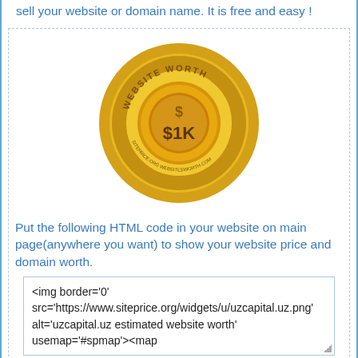sell your website or domain name. It is free and easy !
[Figure (illustration): Gold seal/badge with 'WEBSITE WORTH' text around the rim and '$1K' in the center with a dollar sign icon]
Put the following HTML code in your website on main page(anywhere you want) to show your website price and domain worth.
<img border='0' src='https://www.siteprice.org/widgets/u/uzcapital.uz.png' alt='uzcapital.uz estimated website worth' usemap='#spmap'><map
Sell my website
Sell my domain
If you own this website and want to sell on